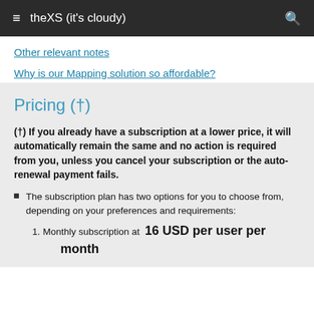theXS (it's cloudy)
Other relevant notes
Why is our Mapping solution so affordable?
Pricing (†)
(†) If you already have a subscription at a lower price, it will automatically remain the same and no action is required from you, unless you cancel your subscription or the auto-renewal payment fails.
The subscription plan has two options for you to choose from, depending on your preferences and requirements:
Monthly subscription at 16 USD per user per month